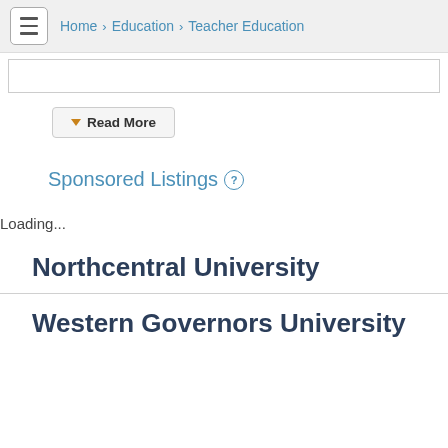Home > Education > Teacher Education
[Figure (screenshot): Search bar input field]
Read More
Sponsored Listings
Loading...
Northcentral University
Western Governors University